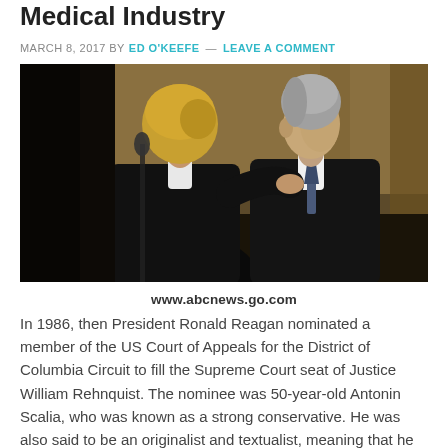Medical Industry
MARCH 8, 2017 BY ED O'KEEFE — LEAVE A COMMENT
[Figure (photo): Two men in dark suits shaking hands or greeting each other at what appears to be an official event, one with blonde hair facing away from camera, one with grey hair facing the camera.]
www.abcnews.go.com
In 1986, then President Ronald Reagan nominated a member of the US Court of Appeals for the District of Columbia Circuit to fill the Supreme Court seat of Justice William Rehnquist. The nominee was 50-year-old Antonin Scalia, who was known as a strong conservative. He was also said to be an originalist and textualist, meaning that he